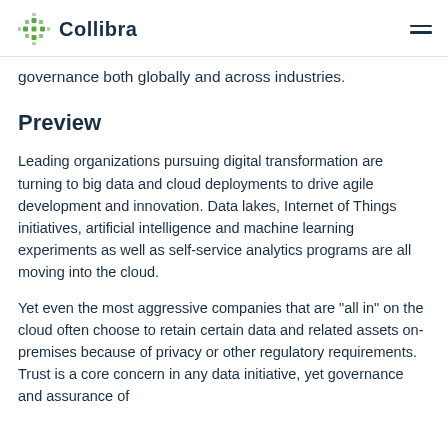Collibra
governance both globally and across industries.
Preview
Leading organizations pursuing digital transformation are turning to big data and cloud deployments to drive agile development and innovation. Data lakes, Internet of Things initiatives, artificial intelligence and machine learning experiments as well as self-service analytics programs are all moving into the cloud.
Yet even the most aggressive companies that are "all in" on the cloud often choose to retain certain data and related assets on-premises because of privacy or other regulatory requirements. Trust is a core concern in any data initiative, yet governance and assurance of